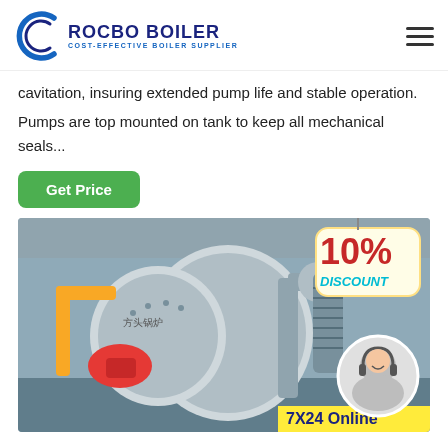ROCBO BOILER — COST-EFFECTIVE BOILER SUPPLIER
cavitation, insuring extended pump life and stable operation.
Pumps are top mounted on tank to keep all mechanical seals...
Get Price
[Figure (photo): Industrial boiler room with a large cylindrical boiler with red burner and silver pipes, overlaid with a 10% Discount badge and a customer service agent in a circular portrait, and '7X24 Online' text at the bottom right.]